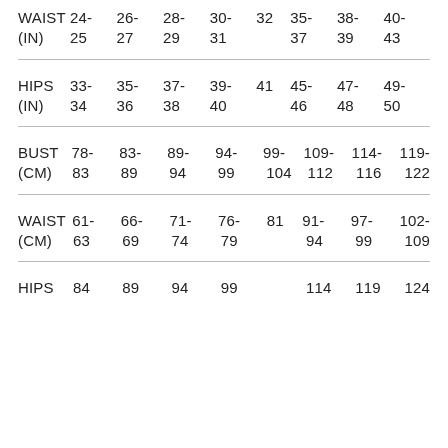|  | Col1 | Col2 | Col3 | Col4 | Col5 | Col6 | Col7 | Col8 |
| --- | --- | --- | --- | --- | --- | --- | --- | --- |
| WAIST (IN) | 24-25 | 26-27 | 28-29 | 30-31 | 32 | 35-37 | 38-39 | 40-43 |
| HIPS (IN) | 33-34 | 35-36 | 37-38 | 39-40 | 41 | 45-46 | 47-48 | 49-50 |
| BUST (CM) | 78-83 | 83-89 | 89-94 | 94-99 | 99-104 | 109-112 | 114-116 | 119-122 |
| WAIST (CM) | 61-63 | 66-69 | 71-74 | 76-79 | 81 | 91-94 | 97-99 | 102-109 |
| HIPS | 84 | 89 | 94 | 99 |  | 114 | 119 | 124 |